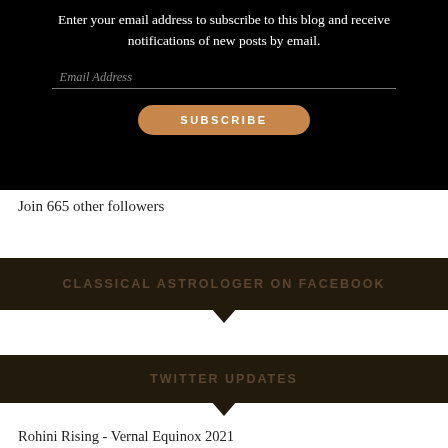[Figure (screenshot): Black subscription box with text prompt, email address input field, and a rounded orange SUBSCRIBE button]
Join 665 other followers
CLASSICAL ASTROLOGER ON FACEBOOK
TWITTER UPDATES
Rohini Rising - Vernal Equinox 2021